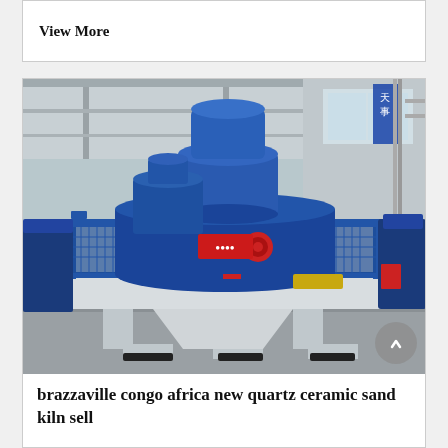View More
[Figure (photo): Large blue industrial sand making machine / VSI crusher on a factory floor inside an industrial warehouse. The machine is painted blue with red accent parts and sits on a white metal base frame with support legs. A Chinese flag or banner is visible in the background upper right.]
brazzaville congo africa new quartz ceramic sand kiln sell